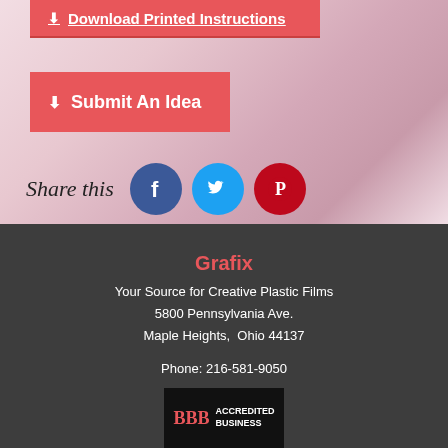[Figure (screenshot): Red button with download icon labeled 'Download Printed Instructions']
[Figure (screenshot): Red button with submit icon labeled 'Submit An Idea']
Share this
[Figure (infographic): Social media icons: Facebook (blue circle), Twitter (light blue circle), Pinterest (red circle)]
Grafix
Your Source for Creative Plastic Films
5800 Pennsylvania Ave.
Maple Heights, Ohio 44137

Phone: 216-581-9050
Fax: 216-581-9041
[Figure (logo): BBB Accredited Business badge in black background]